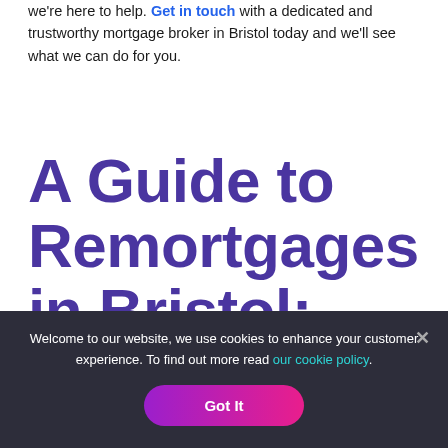we're here to help. Get in touch with a dedicated and trustworthy mortgage broker in Bristol today and we'll see what we can do for you.
A Guide to Remortgages in Bristol: Top Reasons to Consider
Welcome to our website, we use cookies to enhance your customer experience. To find out more read our cookie policy.